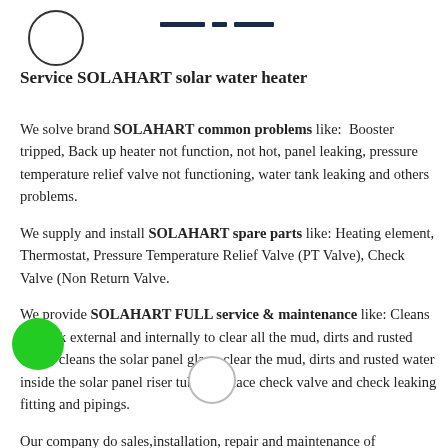Service SOLAHART solar water heater
We solve brand SOLAHART common problems like: Booster tripped, Back up heater not function, not hot, panel leaking, pressure temperature relief valve not functioning, water tank leaking and others problems.
We supply and install SOLAHART spare parts like: Heating element, Thermostat, Pressure Temperature Relief Valve (PT Valve), Check Valve (Non Return Valve.
We provide SOLAHART FULL service & maintenance like: Cleans the tank external and internally to clear all the mud, dirts and rusted water, cleans the solar panel glass, clear the mud, dirts and rusted water inside the solar panel riser tubes, replace check valve and check leaking fitting and pipings.
Our company do sales, installation, repair and maintenance of